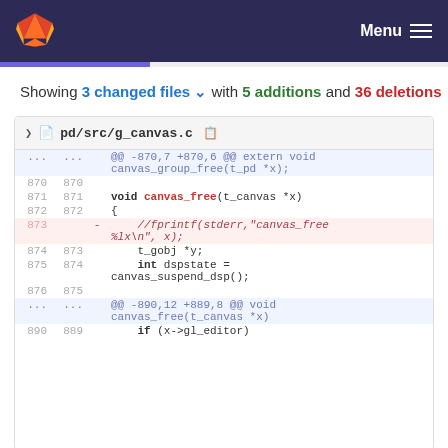GitLab navigation bar with logo and Menu
Showing 3 changed files with 5 additions and 36 deletions
[Figure (screenshot): GitLab diff view of pd/src/g_canvas.c showing lines 870-876 and a hunk header, with line 873 deleted (//fprintf(stderr,"canvas_free %lx\n", x);)]